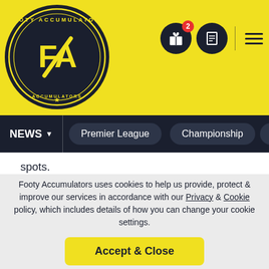[Figure (logo): Footy Accumulators circular badge logo with FA letters in yellow on dark background]
spots.
The Millers have won just once in their last nine away matches in the Championship and lack a main goalscorer. Rotherham have failed to score in four of their five defeats this season and look set for another tough afternoon in South Wales this weekend.
Four of Swansea’s five wins this season have been to nil and we anticipate a similar result this weekend. A home win to nil is
Footy Accumulators uses cookies to help us provide, protect & improve our services in accordance with our Privacy & Cookie policy, which includes details of how you can change your cookie settings.